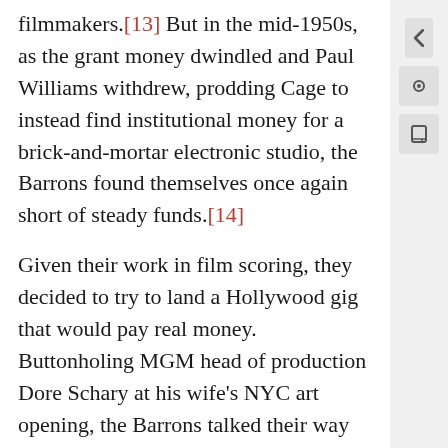filmmakers.[13] But in the mid-1950s, as the grant money dwindled and Paul Williams withdrew, prodding Cage to instead find institutional money for a brick-and-mortar electronic studio, the Barrons found themselves once again short of steady funds.[14]
Given their work in film scoring, they decided to try to land a Hollywood gig that would pay real money. Buttonholing MGM head of production Dore Schary at his wife's NYC art opening, the Barrons talked their way into a further audience with Schary and walked out of his LA office a week later with a provisional contract to provide electronic sound for Forbidden Planet. They worked non-stop on the project for over three months, using a rough-cut work print of the film and the homemade circuits of their Village studio. Their initial sounds were mostly approved, but also revised in cooperation with Johnny Green, head of MGM's music